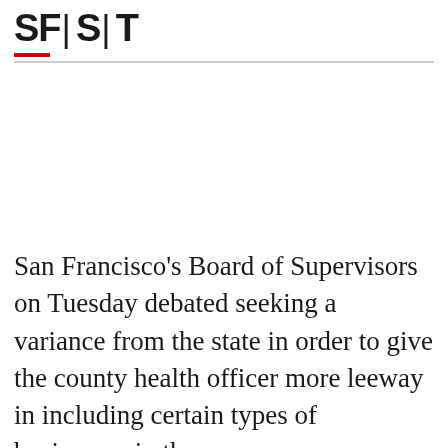SFIST
San Francisco's Board of Supervisors on Tuesday debated seeking a variance from the state in order to give the county health officer more leeway in including certain types of businesses in the